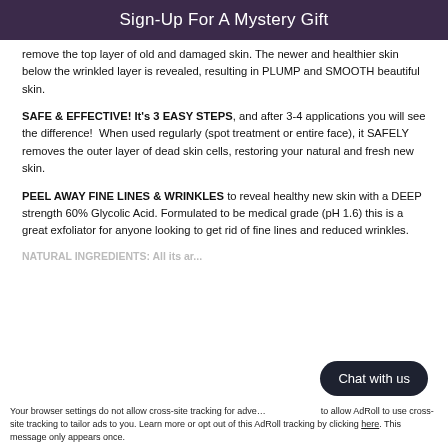Sign-Up For A Mystery Gift
remove the top layer of old and damaged skin. The newer and healthier skin below the wrinkled layer is revealed, resulting in PLUMP and SMOOTH beautiful skin.
SAFE & EFFECTIVE! It's 3 EASY STEPS, and after 3-4 applications you will see the difference!  When used regularly (spot treatment or entire face), it SAFELY removes the outer layer of dead skin cells, restoring your natural and fresh new skin.
PEEL AWAY FINE LINES & WRINKLES to reveal healthy new skin with a DEEP strength 60% Glycolic Acid. Formulated to be medical grade (pH 1.6) this is a great exfoliator for anyone looking to get rid of fine lines and reduced wrinkles.
NATURAL INGREDIENTS: All its are...
Your browser settings do not allow cross-site tracking for adve... to allow AdRoll to use cross-site tracking to tailor ads to you. Learn more or opt out of this AdRoll tracking by clicking here. This message only appears once.